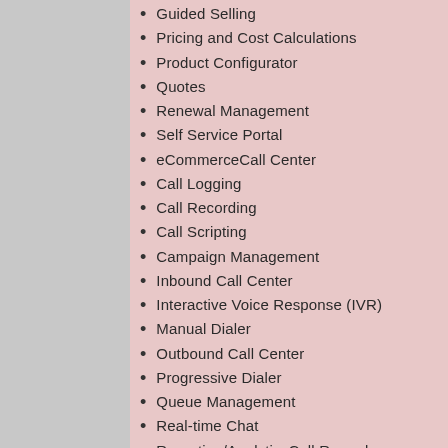Guided Selling
Pricing and Cost Calculations
Product Configurator
Quotes
Renewal Management
Self Service Portal
eCommerceCall Center
Call Logging
Call Recording
Call Scripting
Campaign Management
Inbound Call Center
Interactive Voice Response (IVR)
Manual Dialer
Outbound Call Center
Progressive Dialer
Queue Management
Real-time Chat
Reporting/AnalyticsCall Record
Distributed Call Recording
Contact Database